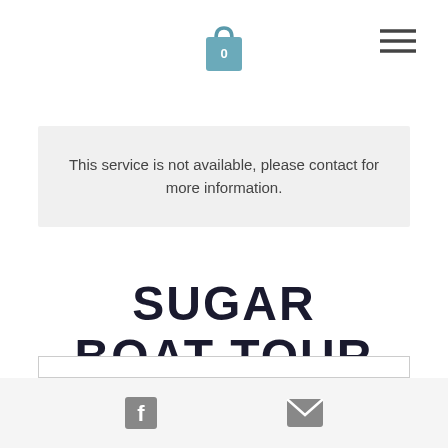Shopping bag icon with 0 items and hamburger menu
This service is not available, please contact for more information.
SUGAR BOAT TOUR
Discover one of the Clyde's most well-known landmarks up close.
Facebook icon and email/envelope icon